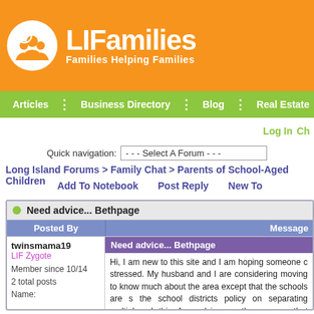LIFamilies — Families Helping Families
[Figure (logo): LIFamilies logo with family icon in white circle and text 'LIFamilies / Families Helping Families' on orange background]
Articles | Business Directory | Blog | Real Estate
Log In  Ch
Quick navigation: --- Select A Forum ---
Long Island Forums > Family Chat > Parents of School-Aged Children
Add To Notebook   Post Reply   New To
Need advice... Bethpage
| Posted By | Message |
| --- | --- |
| twinsmama19
LIF Zygote
Member since 10/14
2 total posts
Name: | Need advice... Bethpage
Hi, I am new to this site and I am hoping someone c stressed. My husband and I are considering moving to know much about the area except that the schools are s the school districts policy on separating multiples. I thin Any advice on the area or that specific topic woul environment and I'm very nervous. Thanks so much. |